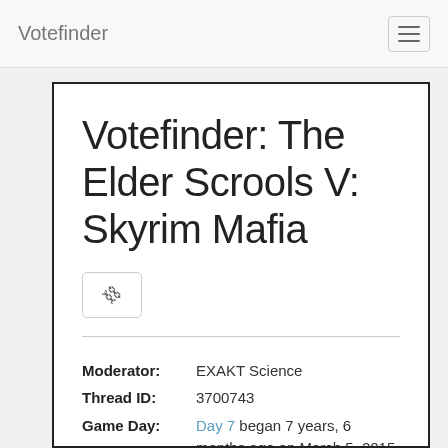Votefinder
Votefinder: The Elder Scrools V: Skyrim Mafia
Moderator: EXAKT Science
Thread ID: 3700743
Game Day: Day 7 began 7 years, 6 months ago on March 5, 2015, 4:54 p.m.
Deadline: in 0 minutes, on March 8, 2015, 1 a.m. EST
Read pages: 47 / 47